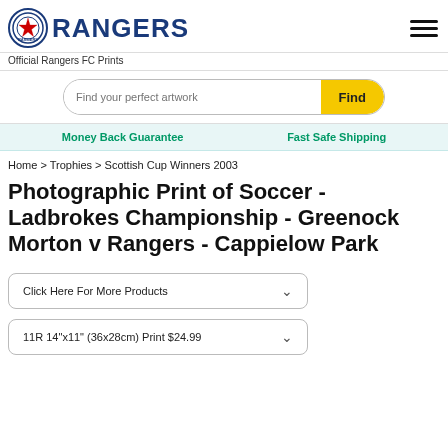[Figure (logo): Rangers FC logo with circular crest and bold blue RANGERS text]
Official Rangers FC Prints
Find your perfect artwork  Find
Money Back Guarantee   Fast Safe Shipping
Home > Trophies > Scottish Cup Winners 2003
Photographic Print of Soccer - Ladbrokes Championship - Greenock Morton v Rangers - Cappielow Park
Click Here For More Products
11R 14"x11" (36x28cm) Print $24.99